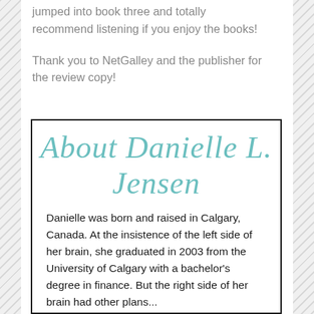jumped into book three and totally recommend listening if you enjoy the books!
Thank you to NetGalley and the publisher for the review copy!
About Danielle L. Jensen
Danielle was born and raised in Calgary, Canada. At the insistence of the left side of her brain, she graduated in 2003 from the University of Calgary with a bachelor's degree in finance. But the right side of her brain had other plans...